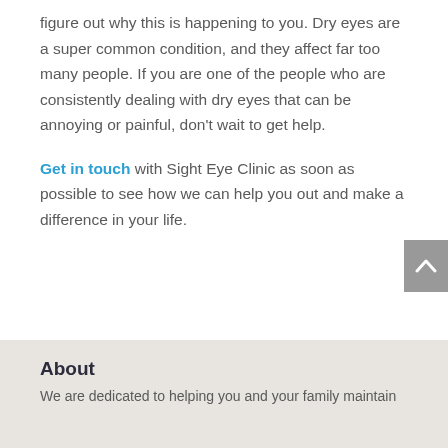figure out why this is happening to you. Dry eyes are a super common condition, and they affect far too many people. If you are one of the people who are consistently dealing with dry eyes that can be annoying or painful, don't wait to get help.
Get in touch with Sight Eye Clinic as soon as possible to see how we can help you out and make a difference in your life.
About
We are dedicated to helping you and your family maintain...